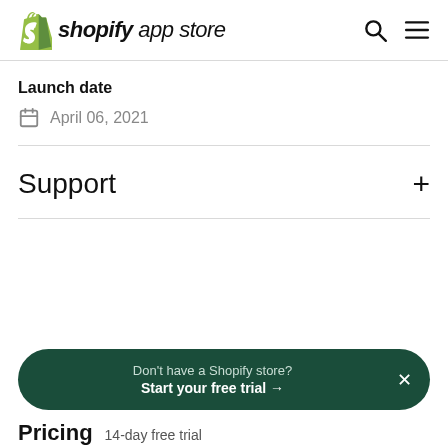shopify app store
Launch date
April 06, 2021
Support
Don't have a Shopify store? Start your free trial →
Pricing  14-day free trial